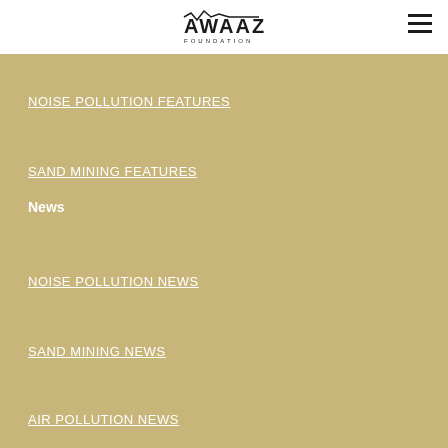AWAAZ FOUNDATION
NOISE POLLUTION FEATURES
SAND MINING FEATURES
News
NOISE POLLUTION NEWS
SAND MINING NEWS
AIR POLLUTION NEWS